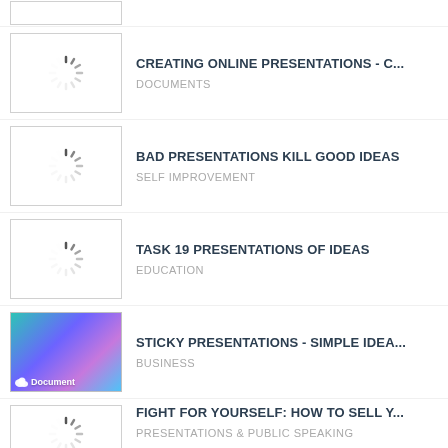CREATING ONLINE PRESENTATIONS - C...
DOCUMENTS
BAD PRESENTATIONS KILL GOOD IDEAS
SELF IMPROVEMENT
TASK 19 PRESENTATIONS OF IDEAS
EDUCATION
STICKY PRESENTATIONS - SIMPLE IDEA...
BUSINESS
FIGHT FOR YOURSELF: HOW TO SELL Y...
PRESENTATIONS & PUBLIC SPEAKING